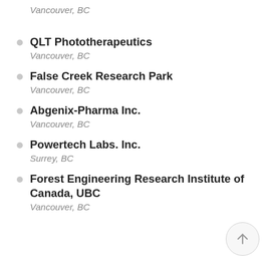Vancouver, BC
QLT Phototherapeutics
Vancouver, BC
False Creek Research Park
Vancouver, BC
Abgenix-Pharma Inc.
Vancouver, BC
Powertech Labs. Inc.
Surrey, BC
Forest Engineering Research Institute of Canada, UBC
Vancouver, BC